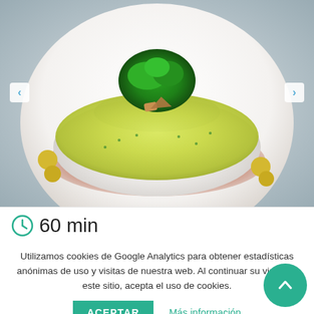[Figure (photo): A plated fish dish (bacalao/cod) with green avocado or herb sauce on top, garnished with fresh herbs, small fried potato balls, and a dark red sauce on a white round plate. Navigation arrows on left and right sides of the image.]
60 min
Utilizamos cookies de Google Analytics para obtener estadísticas anónimas de uso y visitas de nuestra web. Al continuar su visita en este sitio, acepta el uso de cookies.
ACEPTAR
Más información